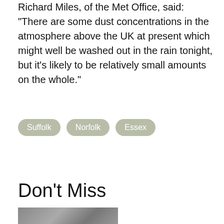Richard Miles, of the Met Office, said: "There are some dust concentrations in the atmosphere above the UK at present which might well be washed out in the rain tonight, but it's likely to be relatively small amounts on the whole."
Suffolk
Norfolk
Essex
Don't Miss
[Figure (photo): Partially visible thumbnail photo at the bottom of the page]